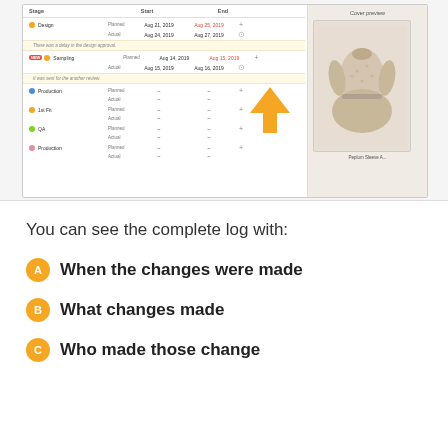[Figure (screenshot): Screenshot of a fashion product timeline management interface showing stages (Design, Sampling, Production, 1st Fit, QA, Production) with Planned and Actual dates, and a Cover preview panel showing a dress labeled 'Peplum Sleeve A'. An orange arrow points to a history/log icon in the Sampling row.]
You can see the complete log with:
When the changes were made
What changes made
Who made those change